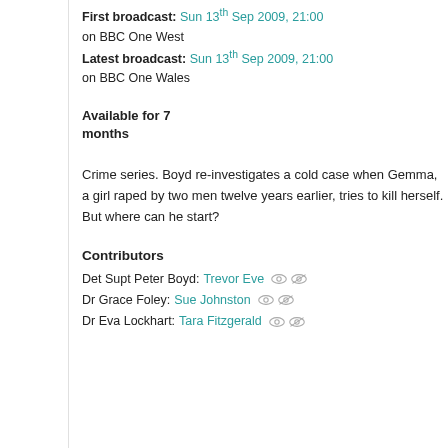First broadcast: Sun 13th Sep 2009, 21:00 on BBC One West
Latest broadcast: Sun 13th Sep 2009, 21:00 on BBC One Wales
Available for 7 months
Crime series. Boyd re-investigates a cold case when Gemma, a girl raped by two men twelve years earlier, tries to kill herself. But where can he start?
Contributors
Det Supt Peter Boyd: Trevor Eve
Dr Grace Foley: Sue Johnston
Dr Eva Lockhart: Tara Fitzgerald